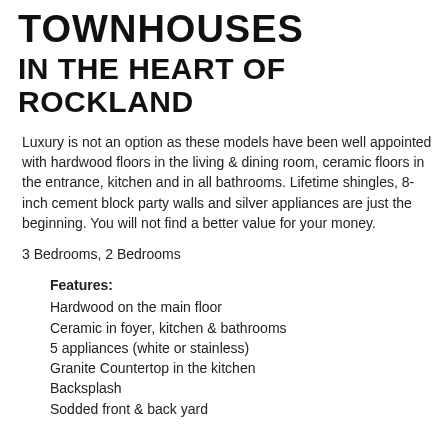TOWNHOUSES
IN THE HEART OF ROCKLAND
Luxury is not an option as these models have been well appointed with hardwood floors in the living & dining room, ceramic floors in the entrance, kitchen and in all bathrooms. Lifetime shingles, 8-inch cement block party walls and silver appliances are just the beginning. You will not find a better value for your money.
3 Bedrooms, 2 Bedrooms
Features:
Hardwood on the main floor
Ceramic in foyer, kitchen & bathrooms
5 appliances (white or stainless)
Granite Countertop in the kitchen
Backsplash
Sodded front & back yard